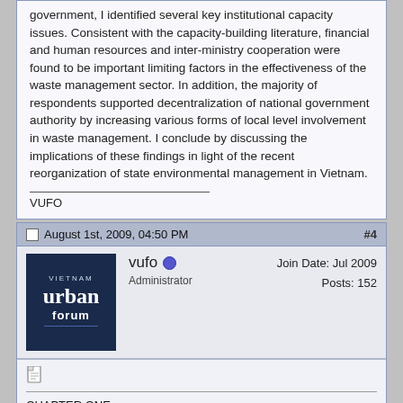government, I identified several key institutional capacity issues. Consistent with the capacity-building literature, financial and human resources and inter-ministry cooperation were found to be important limiting factors in the effectiveness of the waste management sector. In addition, the majority of respondents supported decentralization of national government authority by increasing various forms of local level involvement in waste management. I conclude by discussing the implications of these findings in light of the recent reorganization of state environmental management in Vietnam.
VUFO
August 1st, 2009, 04:50 PM
#4
[Figure (logo): Vietnam Urban Forum logo — dark navy blue square with 'urban forum' text and 'VIETNAM' above]
vufo
Administrator
Join Date: Jul 2009
Posts: 152
[Figure (illustration): Small document/notepad icon]
CHAPTER ONE:
INTRODUCTION
The capacity for governments in lesser-developed countries to provide adequate environmental services in urban areas has been studied extensively in the development and public